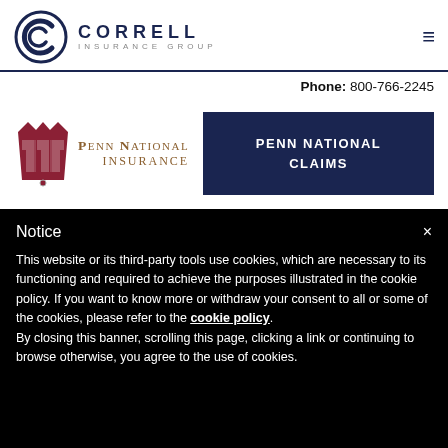[Figure (logo): Correll Insurance Group logo with circular C emblem and company name]
Phone: 800-766-2245
[Figure (logo): Penn National Insurance logo with red shield/crown emblem]
PENN NATIONAL CLAIMS
Notice
This website or its third-party tools use cookies, which are necessary to its functioning and required to achieve the purposes illustrated in the cookie policy. If you want to know more or withdraw your consent to all or some of the cookies, please refer to the cookie policy.
By closing this banner, scrolling this page, clicking a link or continuing to browse otherwise, you agree to the use of cookies.